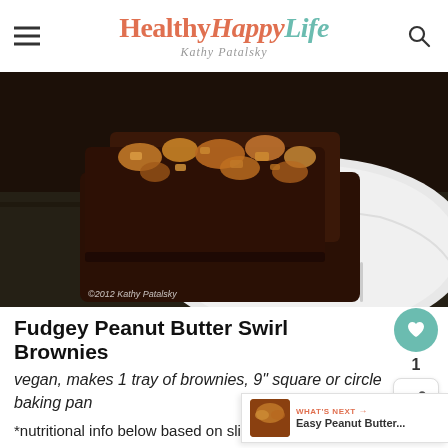HealthyHappyLife — Kathy Patalsky
[Figure (photo): Close-up photo of fudgey peanut butter swirl brownies stacked on a white plate, with copyright watermark © 2012 Kathy Patalsky]
Fudgey Peanut Butter Swirl Brownies
vegan, makes 1 tray of brownies, 9" square or circle baking pan
*nutritional info below based on slicing up 12